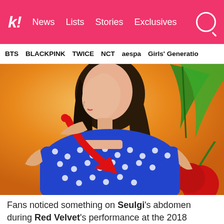k! News  Lists  Stories  Exclusives
BTS  BLACKPINK  TWICE  NCT  aespa  Girls' Generation
[Figure (photo): A young woman in a blue polka-dot dress performing on stage against an orange background with green leaves and a red cherry. A large red arrow points to her abdomen area.]
Fans noticed something on Seulgi's abdomen during Red Velvet's performance at the 2018 Incheon International Airport Sky Festival.